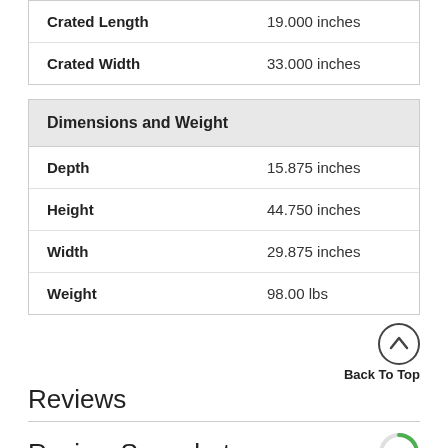| Attribute | Value |
| --- | --- |
| Crated Length | 19.000 inches |
| Crated Width | 33.000 inches |
Dimensions and Weight
| Attribute | Value |
| --- | --- |
| Depth | 15.875 inches |
| Height | 44.750 inches |
| Width | 29.875 inches |
| Weight | 98.00 lbs |
Back To Top
Reviews
Review Snapshot